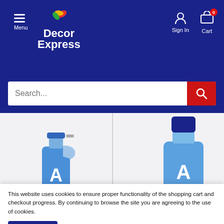[Figure (screenshot): Decor Express website header with logo (colorful leaf motif), Menu button, Sign In and Cart icons on dark blue background]
[Figure (screenshot): Search bar with text input and red search button on dark blue background]
[Figure (photo): Blue Astonish spray bottle cleaning product on left product tile]
[Figure (photo): Blue Astonish Window & Glass cleaning bottle on right product tile (partially visible)]
This website uses cookies to ensure proper functionality of the shopping cart and checkout progress. By continuing to browse the site you are agreeing to the use of cookies.
Accept
£1.99
£1.99